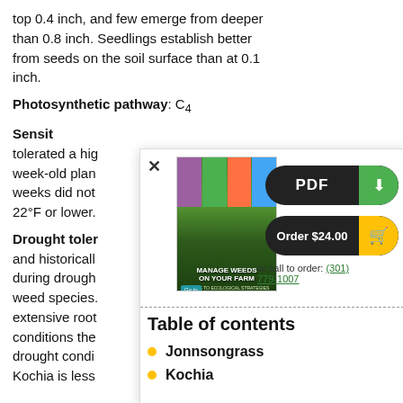top 0.4 inch, and few emerge from deeper than 0.8 inch. Seedlings establish better from seeds on the soil surface than at 0.1 inch.
Photosynthetic pathway: C4
Sensitivity [partially obscured by popup] tolerated a high ... week-old plant ... weeks did not ... 22°F or lower.
Drought tolerance [partially obscured] and historically ... during drough ... weed species. ... extensive root ... conditions the ... drought condi ... Kochia is less
[Figure (screenshot): Popup overlay showing book 'Manage Weeds on Your Farm' with PDF download button, Order $24.00 button with cart icon, phone number (301) 779-1007, and Table of contents with list items Jonnsongrass and Kochia]
Table of contents
Jonnsongrass
Kochia